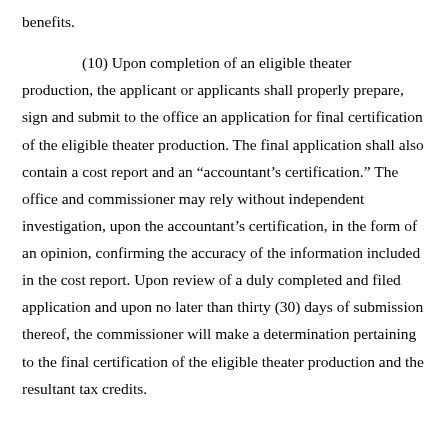benefits.

(10) Upon completion of an eligible theater production, the applicant or applicants shall properly prepare, sign and submit to the office an application for final certification of the eligible theater production. The final application shall also contain a cost report and an “accountant’s certification.” The office and commissioner may rely without independent investigation, upon the accountant’s certification, in the form of an opinion, confirming the accuracy of the information included in the cost report. Upon review of a duly completed and filed application and upon no later than thirty (30) days of submission thereof, the commissioner will make a determination pertaining to the final certification of the eligible theater production and the resultant tax credits.